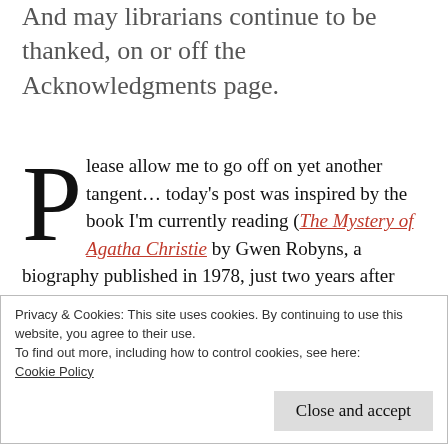And may librarians continue to be thanked, on or off the Acknowledgments page.
Please allow me to go off on yet another tangent... today's post was inspired by the book I'm currently reading (The Mystery of Agatha Christie by Gwen Robyns, a biography published in 1978, just two years after Christie's death). As I started the book, I
Privacy & Cookies: This site uses cookies. By continuing to use this website, you agree to their use.
To find out more, including how to control cookies, see here:
Cookie Policy

Close and accept
A...